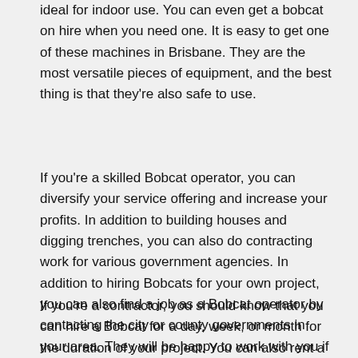ideal for indoor use. You can even get a bobcat on hire when you need one. It is easy to get one of these machines in Brisbane. They are the most versatile pieces of equipment, and the best thing is that they're also safe to use.
If you're a skilled Bobcat operator, you can diversify your service offering and increase your profits. In addition to building houses and digging trenches, you can also do contracting work for various government agencies. In addition to hiring Bobcats for your own project, you can also find a job as a Bobcat operator by contacting the city or county governments in your area. They will be happy to work with you if you're a good fit for them.
If you're a contractor, you should know that you can hire a Bobcat for a day, week, or month for the duration of your project. You can also rent a large bobcat for a few months or a whole year. This can be the perfect option for a one-time job or a long-